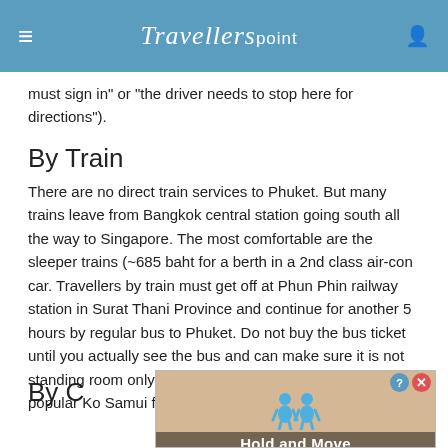Travellerspoint
must sign in" or "the driver needs to stop here for directions").
By Train
There are no direct train services to Phuket. But many trains leave from Bangkok central station going south all the way to Singapore. The most comfortable are the sleeper trains (~685 baht for a berth in a 2nd class air-con car. Travellers by train must get off at Phun Phin railway station in Surat Thani Province and continue for another 5 hours by regular bus to Phuket. Do not buy the bus ticket until you actually see the bus and can make sure it is not standing room only, as it picks up passengers at the popular Ko Samui ferry. If full, wait for the next one.
By C
[Figure (other): Advertisement banner showing two blue cartoon figures with text 'Hold and Move']